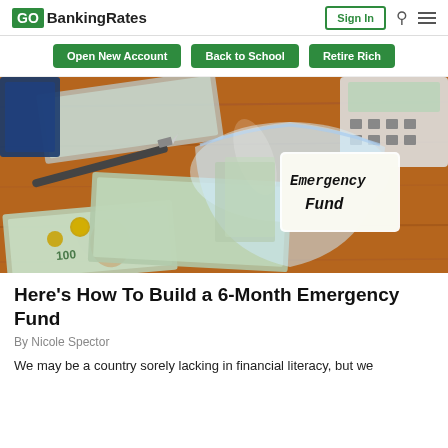GOBankingRates | Sign In
Open New Account | Back to School | Retire Rich
[Figure (photo): A glass jar labeled 'Emergency Fund' lying on its side on a wooden table, surrounded by US $100 bills, coins, a pen, a notebook, and a calculator.]
Here’s How To Build a 6-Month Emergency Fund
By Nicole Spector
We may be a country sorely lacking in financial literacy, but we